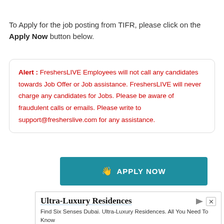To Apply for the job posting from TIFR, please click on the Apply Now button below.
Alert : FreshersLIVE Employees will not call any candidates towards Job Offer or Job assistance. FreshersLIVE will never charge any candidates for Jobs. Please be aware of fraudulent calls or emails. Please write to support@fresherslive.com for any assistance.
[Figure (other): Teal Apply Now button with a hand/pointer icon]
[Figure (other): Advertisement banner for Ultra-Luxury Residences by Questtips, with Open button]